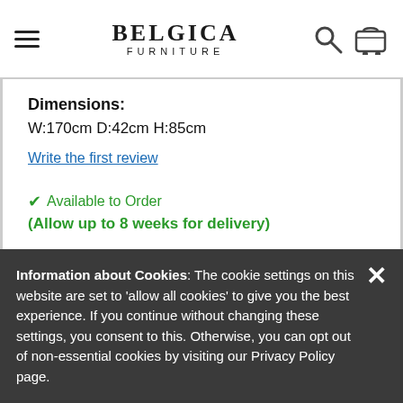BELGICA FURNITURE
Dimensions:
W:170cm D:42cm H:85cm
Write the first review
✔ Available to Order
(Allow up to 8 weeks for delivery)
Note: Currently not available for delivery to Non-UK Mainland Addresses.
Information about Cookies: The cookie settings on this website are set to 'allow all cookies' to give you the best experience. If you continue without changing these settings, you consent to this. Otherwise, you can opt out of non-essential cookies by visiting our Privacy Policy page.